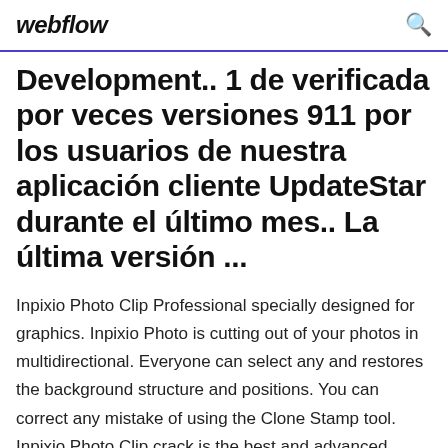webflow
Development.. 1 de verificada por veces versiones 911 por los usuarios de nuestra aplicación cliente UpdateStar durante el último mes.. La última versión ...
Inpixio Photo Clip Professional specially designed for graphics. Inpixio Photo is cutting out of your photos in multidirectional. Everyone can select any and restores the background structure and positions. You can correct any mistake of using the Clone Stamp tool. Inpixio Photo Clip crack is the best and advanced graphic software. Without an expert level, you can edit your public or private InPixio Photo